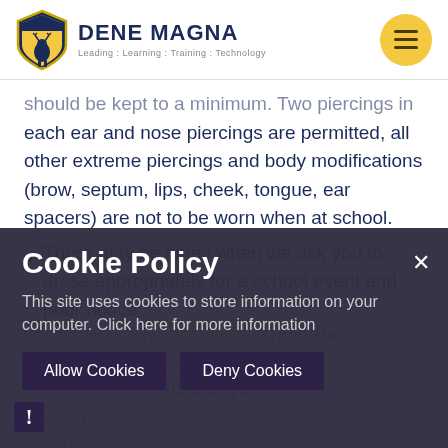DENE MAGNA — Leading : Learning : Training : Technology
should be kept to a minimum. Two piercings in each ear and nose piercings are permitted, all other extreme piercings and body modifications (brow, septum, lips, cheek, tongue, ear spacers) are not to be worn when at school.
There may be times when we ask you to dress appropriately for a school event and prior notice will be given. This will include Open Days, where smart dress is expected from all students, and PRIDE Days, where suitable clothing is expected to conform to the school uniform policy.
Cookie Policy
This site uses cookies to store information on your computer. Click here for more information
Allow Cookies   Deny Cookies